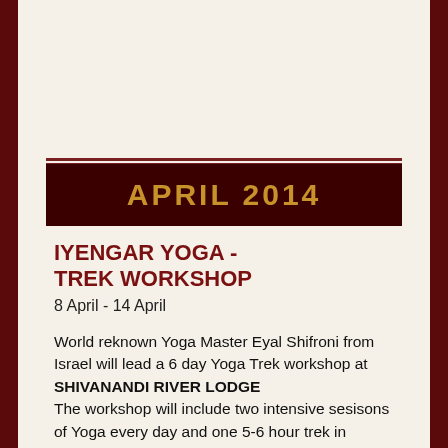APRIL 2014
IYENGAR YOGA - TREK WORKSHOP
8 April - 14 April
World reknown Yoga Master Eyal Shifroni from Israel will lead a 6 day Yoga Trek workshop at SHIVANANDI RIVER LODGE The workshop will include two intensive sesisons of Yoga every day and one 5-6 hour trek in between.  The morning Yoga will be more intensive and the evening Yoga will include more … and